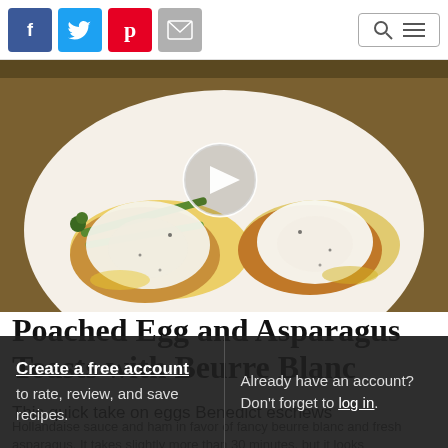[Figure (screenshot): Header bar with Facebook, Twitter, Pinterest, and email social share icons on the left, and a search/menu icon box on the right]
[Figure (photo): Close-up photo of poached eggs and asparagus on toast with beurre blanc sauce on a white plate, with a circular video play button overlay in the center]
Poached Egg and Asparagus Toasts with Beurre Blanc
This quick take on eggs Benedict eschews Hollandaise sauce and ham in favor of fancy beurre blanc and fresh asparagus. It takes slightly more than 30 minutes, but it looks
Create a free account to rate, review, and save recipes.
Already have an account? Don't forget to log in.